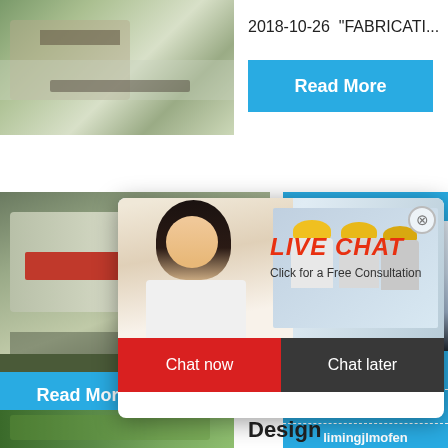[Figure (photo): Industrial quarry/mining machinery equipment photo, top left]
2018-10-26  "FABRICATI...
[Figure (other): Read More button, cyan/blue background]
[Figure (photo): Impact crusher / industrial milling machine, mid left]
[Figure (other): Live Chat overlay popup with workers photo, LIVE CHAT text, Chat now and Chat later buttons]
hour online
[Figure (photo): Cone crusher machine image in right sidebar]
Click me to chat>>
Enquiry
limingjlmofen
[Figure (other): Read More button, bottom left, cyan background]
2021-11-...
[Figure (photo): Green foliage/plant material strip, bottom left]
Design